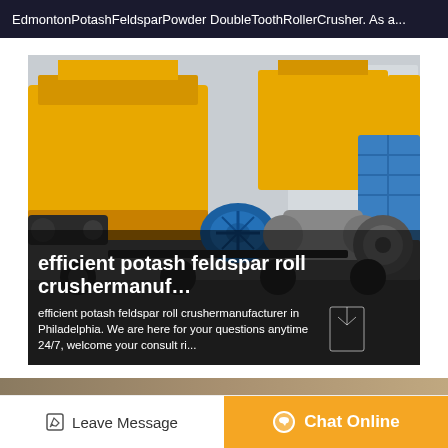EdmontonPotashFeldsparPowder DoubleToothRollerCrusher. As a...
[Figure (photo): Industrial double tooth roller crusher machine, primarily yellow colored, with blue motor components, mounted on a flatbed, photographed outdoors near a warehouse. Overlaid text includes title and description.]
efficient potash feldspar roll crushermanuf…
efficient potash feldspar roll crushermanufacturer in Philadelphia. We are here for your questions anytime 24/7, welcome your consult ri...
Leave Message | Chat Online